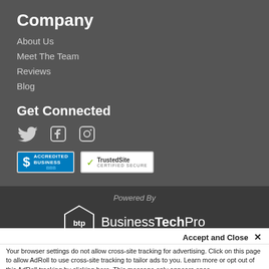Company
About Us
Meet The Team
Reviews
Blog
Get Connected
[Figure (logo): Social media icons: Twitter, Facebook, Instagram]
[Figure (logo): BBB Accredited Business badge and TrustedSite Certified Secure badge]
Powered By
[Figure (logo): BusinessTechPro logo with diamond BTP icon]
Accept and Close ✕
Your browser settings do not allow cross-site tracking for advertising. Click on this page to allow AdRoll to use cross-site tracking to tailor ads to you. Learn more or opt out of this AdRoll tracking by clicking here. This message only appears once.